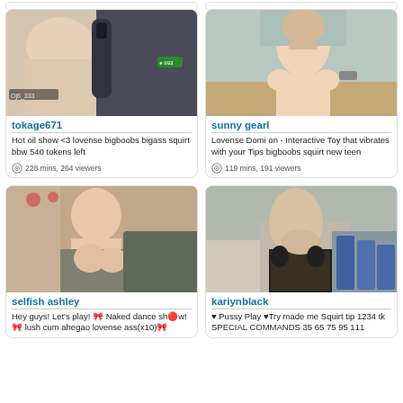[Figure (screenshot): Partial top strip of two cards cut off at top]
[Figure (photo): Webcam thumbnail for tokage671]
tokage671
Hot oil show <3 lovense bigboobs bigass squirt bbw 540 tokens left
228 mins, 264 viewers
[Figure (photo): Webcam thumbnail for sunny gearl]
sunny gearl
Lovense Domi on - Interactive Toy that vibrates with your Tips bigboobs squirt new teen
119 mins, 191 viewers
[Figure (photo): Webcam thumbnail for selfish ashley]
selfish ashley
Hey guys! Let's play! 🎀 Naked dance sh🔴w! 🎀 lush cum ahegao lovense ass(x10)🎀
[Figure (photo): Webcam thumbnail for kariynblack]
kariynblack
♥ Pussy Play ♥Try made me Squirt tip 1234 tk SPECIAL COMMANDS 35 65 75 95 111